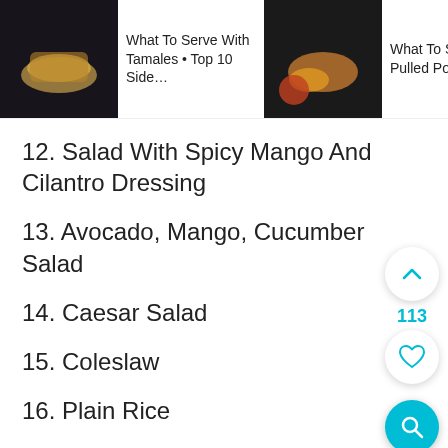[Figure (screenshot): Banner with three article thumbnails: 'What To Serve With Tamales • Top 10 Side…', 'What To Serve With Pulled Pork: 30+…', 'What To S… With T… Top 35…']
12. Salad With Spicy Mango And Cilantro Dressing
13. Avocado, Mango, Cucumber Salad
14. Caesar Salad
15. Coleslaw
16. Plain Rice
17. Egg Fried Rice
18. Pineapple Fried Rice
19. Rice Noodle